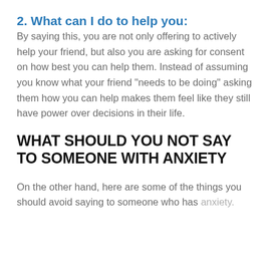2. What can I do to help you:
By saying this, you are not only offering to actively help your friend, but also you are asking for consent on how best you can help them. Instead of assuming you know what your friend “needs to be doing” asking them how you can help makes them feel like they still have power over decisions in their life.
WHAT SHOULD YOU NOT SAY TO SOMEONE WITH ANXIETY
On the other hand, here are some of the things you should avoid saying to someone who has anxiety.